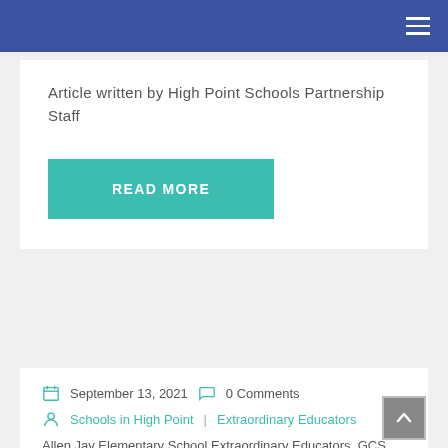Navigation bar
Article written by High Point Schools Partnership Staff
READ MORE
September 13, 2021   0 Comments
Schools in High Point   Extraordinary Educators
Allen Jay Elementary School Extraordinary Educators, GCS ...